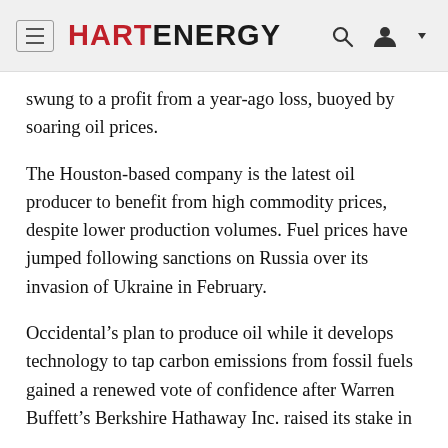HART ENERGY
swung to a profit from a year-ago loss, buoyed by soaring oil prices.
The Houston-based company is the latest oil producer to benefit from high commodity prices, despite lower production volumes. Fuel prices have jumped following sanctions on Russia over its invasion of Ukraine in February.
Occidental’s plan to produce oil while it develops technology to tap carbon emissions from fossil fuels gained a renewed vote of confidence after Warren Buffett’s Berkshire Hathaway Inc. raised its stake in the company to about 15.2%...